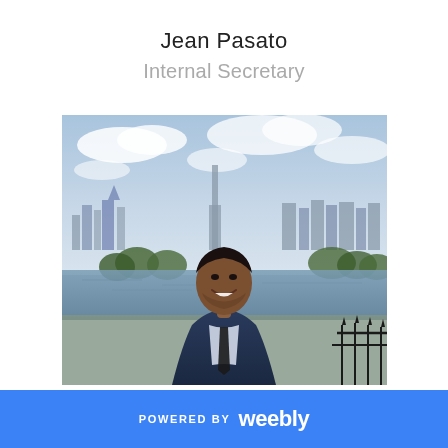Jean Pasato
Internal Secretary
[Figure (photo): Portrait photo of Jean Pasato, a young man in a dark navy suit and dark tie with a plaid shirt, smiling, with a city skyline and water in the background under a partly cloudy sky.]
POWERED BY weebly